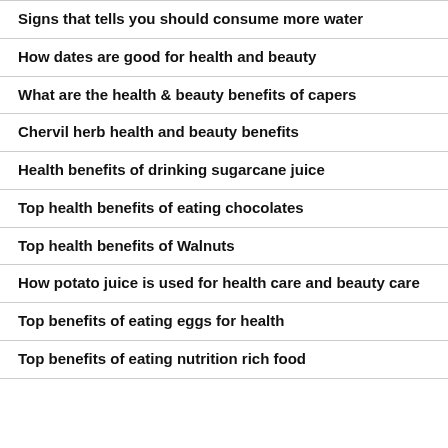Signs that tells you should consume more water
How dates are good for health and beauty
What are the health & beauty benefits of capers
Chervil herb health and beauty benefits
Health benefits of drinking sugarcane juice
Top health benefits of eating chocolates
Top health benefits of Walnuts
How potato juice is used for health care and beauty care
Top benefits of eating eggs for health
Top benefits of eating nutrition rich food